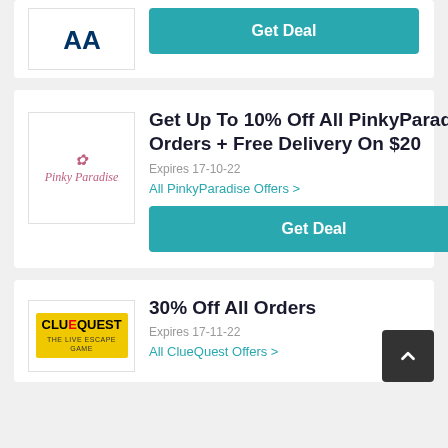[Figure (logo): Logo box partially visible at top of page]
Get Deal
[Figure (logo): PinkyParadise logo with cursive text]
Get Up To 10% Off All PinkyParadise Orders + Free Delivery On $20
Expires 17-10-22
All PinkyParadise Offers >
Get Deal
[Figure (logo): ClueQuest logo on yellow background]
30% Off All Orders
Expires 17-11-22
All ClueQuest Offers >